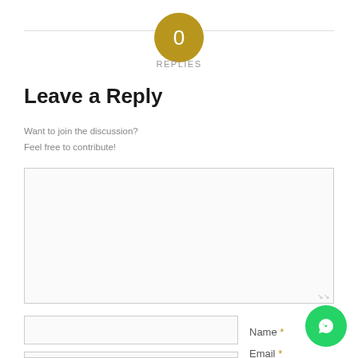0 REPLIES
Leave a Reply
Want to join the discussion?
Feel free to contribute!
[Figure (screenshot): Comment text area input box, empty, with resize handle at bottom-right]
[Figure (screenshot): Name input field with asterisk label]
Name *
[Figure (screenshot): Email input field with asterisk label]
Email *
[Figure (illustration): WhatsApp floating action button, green circle with white phone/chat icon]